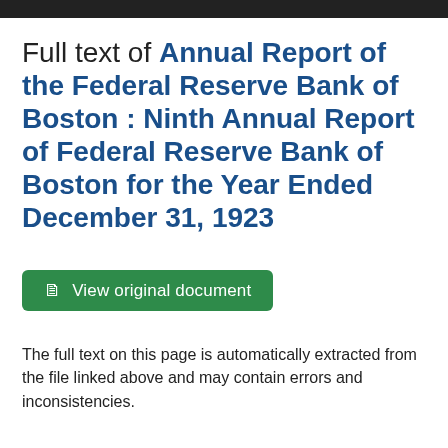Full text of Annual Report of the Federal Reserve Bank of Boston : Ninth Annual Report of Federal Reserve Bank of Boston for the Year Ended December 31, 1923
View original document
The full text on this page is automatically extracted from the file linked above and may contain errors and inconsistencies.